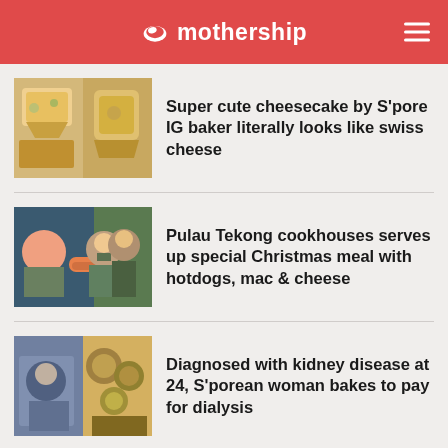mothership
Super cute cheesecake by S'pore IG baker literally looks like swiss cheese
Pulau Tekong cookhouses serves up special Christmas meal with hotdogs, mac & cheese
Diagnosed with kidney disease at 24, S'porean woman bakes to pay for dialysis
S'porean who returned from UK likely to be shedding 'minute fragments' of Covid-19 RNA, no